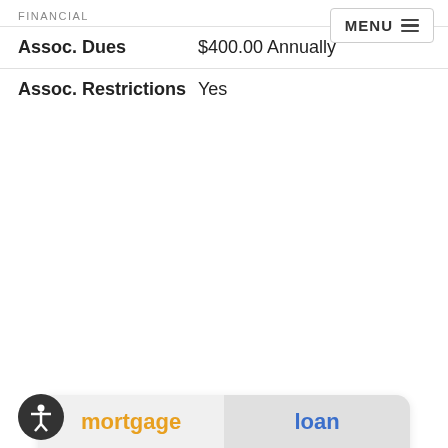FINANCIAL
| Field | Value |
| --- | --- |
| Assoc. Dues | $400.00 Annually |
| Assoc. Restrictions | Yes |
[Figure (screenshot): Mortgage calculator UI with tabs for mortgage and loan, and input fields for purchase price (629900), down payment (10%, $62,990), mortgage term (30 years), interest rate (4.0%), property tax (3,000 per year), property insurance (1,500 per year), and PMI (0.52%)]